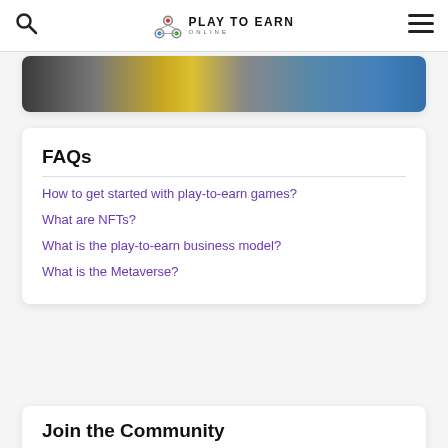Play To Earn Online — navigation bar with search icon, logo, and hamburger menu
[Figure (photo): Partial image strip showing gaming/tech imagery with yellow and blue tones, cropped at top]
FAQs
How to get started with play-to-earn games?
What are NFTs?
What is the play-to-earn business model?
What is the Metaverse?
Join the Community